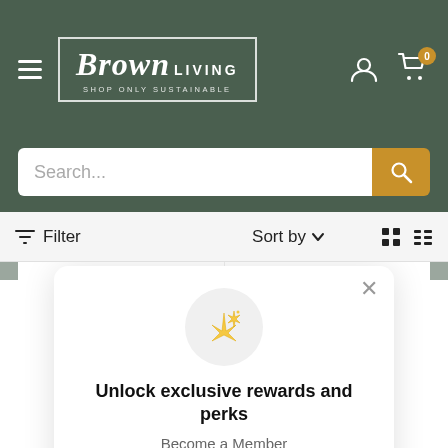[Figure (screenshot): Brown Living website header with logo, hamburger menu, user and cart icons on dark green background]
[Figure (screenshot): Search bar with placeholder text 'Search...' and golden search button]
Filter   Sort by   (grid/list view icons)
Unlock exclusive rewards and perks
Become a Member
Sign me up!
Already have an account? Sign in
BEEJ   BEEJ